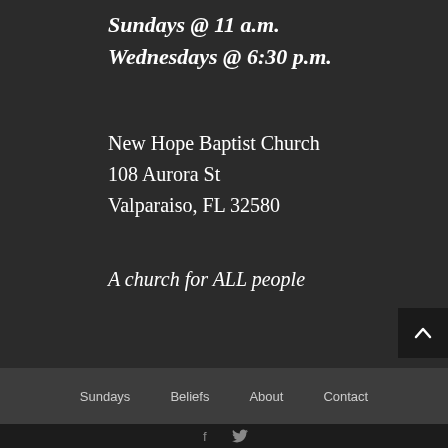Sundays @ 11 a.m.
Wednesdays @ 6:30 p.m.
New Hope Baptist Church
108 Aurora St
Valparaiso, FL 32580
A church for ALL people
Sundays   Beliefs   About   Contact
f  (twitter bird icon)